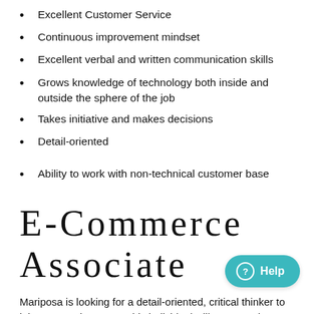Excellent Customer Service
Continuous improvement mindset
Excellent verbal and written communication skills
Grows knowledge of technology both inside and outside the sphere of the job
Takes initiative and makes decisions
Detail-oriented
Ability to work with non-technical customer base
E-Commerce Associate
Mariposa is looking for a detail-oriented, critical thinker to join our growing team. This individual will report to the e-